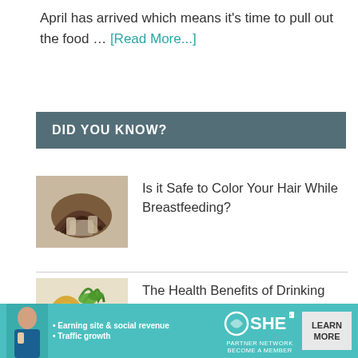April has arrived which means it's time to pull out the food … [Read More...]
DID YOU KNOW?
[Figure (photo): Hands holding dark braided hair, hair coloring context]
Is it Safe to Color Your Hair While Breastfeeding?
[Figure (photo): Kombucha drink with herbs and mint leaves]
The Health Benefits of Drinking Kombucha
[Figure (infographic): SHE Partner Network advertisement banner: Earning site & social revenue, Traffic growth, LEARN MORE button]